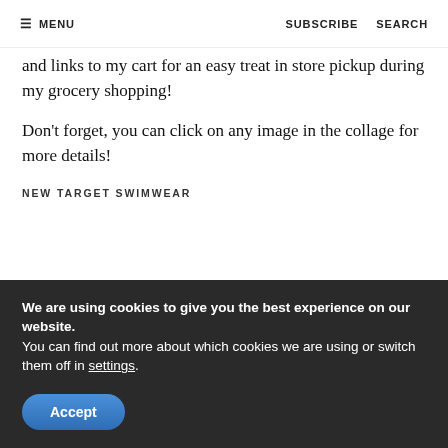≡ MENU   SUBSCRIBE   SEARCH
and links to my cart for an easy treat in store pickup during my grocery shopping!
Don't forget, you can click on any image in the collage for more details!
NEW TARGET SWIMWEAR
[Figure (photo): Three women models in swimwear against a blue sky background — left: blonde in patterned halter bikini, center: brunette in pink strapless bikini, right: brunette in black tank-style swimsuit.]
We are using cookies to give you the best experience on our website.
You can find out more about which cookies we are using or switch them off in settings.
Accept